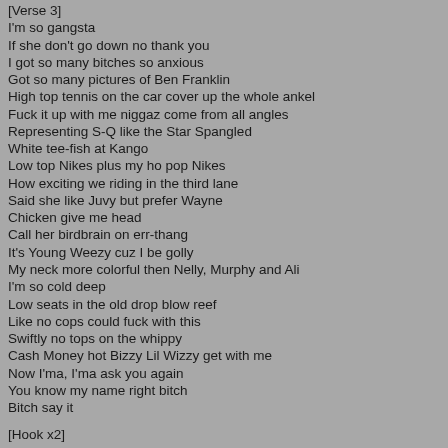[Verse 3]
I'm so gangsta
If she don't go down no thank you
I got so many bitches so anxious
Got so many pictures of Ben Franklin
High top tennis on the car cover up the whole ankel
Fuck it up with me niggaz come from all angles
Representing S-Q like the Star Spangled
White tee-fish at Kango
Low top Nikes plus my ho pop Nikes
How exciting we riding in the third lane
Said she like Juvy but prefer Wayne
Chicken give me head
Call her birdbrain on err-thang
It's Young Weezy cuz I be golly
My neck more colorful then Nelly, Murphy and Ali
I'm so cold deep
Low seats in the old drop blow reef
Like no cops could fuck with this
Swiftly no tops on the whippy
Cash Money hot Bizzy Lil Wizzy get with me
Now I'ma, I'ma ask you again
You know my name right bitch
Bitch say it
[Hook x2]
[Outro]
W-E-E-Z-Y Wee
Bitch holla!